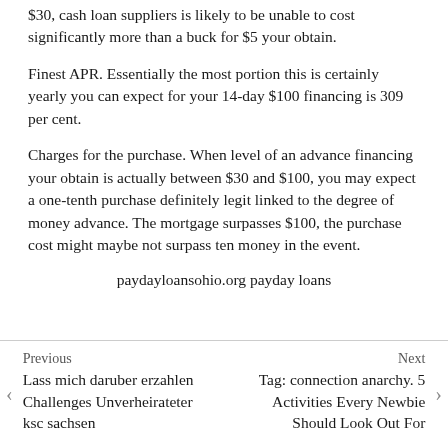$30, cash loan suppliers is likely to be unable to cost significantly more than a buck for $5 your obtain.
Finest APR. Essentially the most portion this is certainly yearly you can expect for your 14-day $100 financing is 309 per cent.
Charges for the purchase. When level of an advance financing your obtain is actually between $30 and $100, you may expect a one-tenth purchase definitely legit linked to the degree of money advance. The mortgage surpasses $100, the purchase cost might maybe not surpass ten money in the event.
paydayloansohio.org payday loans
Previous
Lass mich daruber erzahlen Challenges Unverheirateter ksc sachsen
Next
Tag: connection anarchy. 5 Activities Every Newbie Should Look Out For